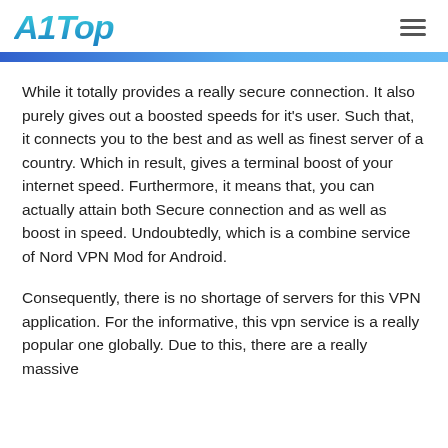A1Top
While it totally provides a really secure connection. It also purely gives out a boosted speeds for it's user. Such that, it connects you to the best and as well as finest server of a country. Which in result, gives a terminal boost of your internet speed. Furthermore, it means that, you can actually attain both Secure connection and as well as boost in speed. Undoubtedly, which is a combine service of Nord VPN Mod for Android.
Consequently, there is no shortage of servers for this VPN application. For the informative, this vpn service is a really popular one globally. Due to this, there are a really massive